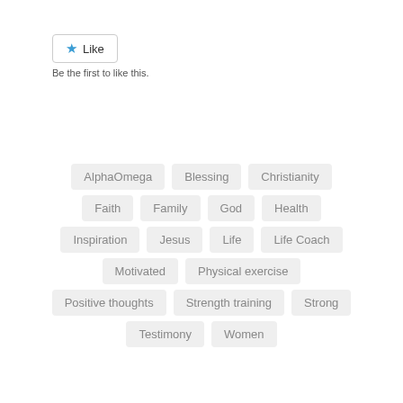[Figure (other): Like button with blue star icon and 'Like' text inside a rounded rectangle border]
Be the first to like this.
AlphaOmega
Blessing
Christianity
Faith
Family
God
Health
Inspiration
Jesus
Life
Life Coach
Motivated
Physical exercise
Positive thoughts
Strength training
Strong
Testimony
Women